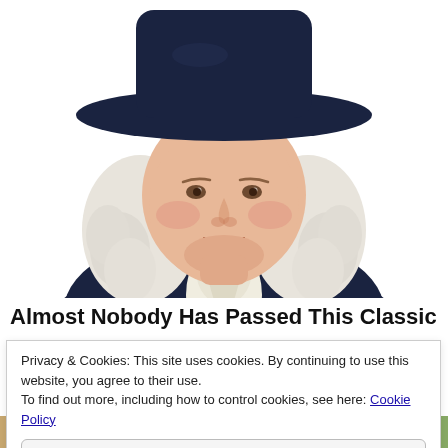[Figure (illustration): Illustrated portrait of the Quaker Oats man — a smiling, rosy-cheeked older gentleman with white curly hair wearing a dark navy blue Quaker hat and a dark coat with a white cravat/neckerchief.]
Almost Nobody Has Passed This Classic
Privacy & Cookies: This site uses cookies. By continuing to use this website, you agree to their use.
To find out more, including how to control cookies, see here: Cookie Policy
Close and accept